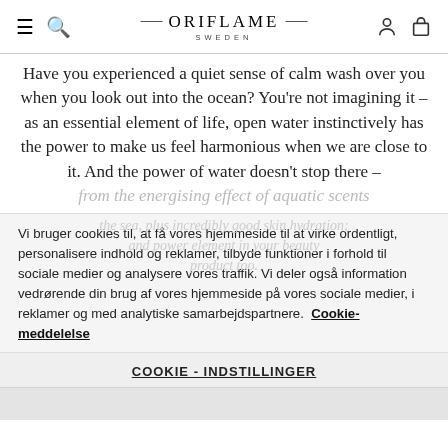ORIFLAME SWEDEN
Have you experienced a quiet sense of calm wash over you when you look out into the ocean? You're not imagining it – as an essential element of life, open water instinctively has the power to make us feel harmonious when we are close to it. And the power of water doesn't stop there – from the energising effect of aquatic scents
Vi bruger cookies til, at få vores hjemmeside til at virke ordentligt, personalisere indhold og reklamer, tilbyde funktioner i forhold til sociale medier og analysere vores traffik. Vi deler også information vedrørende din brug af vores hjemmeside på vores sociale medier, i reklamer og med analytiske samarbejdspartnere. Cookie-meddelelse
COOKIE - INDSTILLINGER